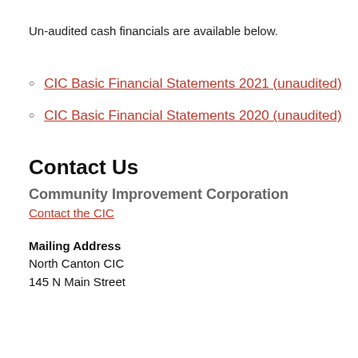Un-audited cash financials are available below.
CIC Basic Financial Statements 2021 (unaudited)
CIC Basic Financial Statements 2020 (unaudited)
Contact Us
Community Improvement Corporation
Contact the CIC
Mailing Address
North Canton CIC
145 N Main Street